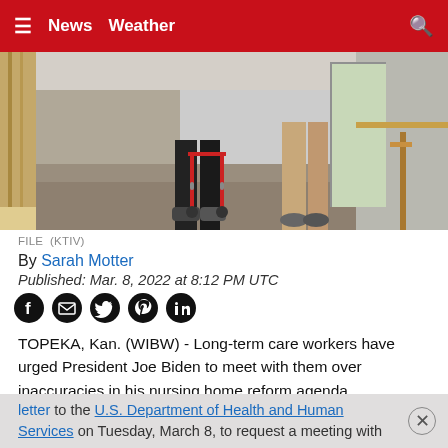≡  News  Weather  🔍
[Figure (photo): FILE photo showing two people walking down a nursing home hallway, one using a red walker. Lower halves of their bodies visible. Tan/beige carpeted floor, wood-paneled walls.]
FILE  (KTIV)
By Sarah Motter
Published: Mar. 8, 2022 at 8:12 PM UTC
[Figure (other): Social sharing icons: Facebook, Email, Twitter, Pinterest, LinkedIn]
TOPEKA, Kan. (WIBW) - Long-term care workers have urged President Joe Biden to meet with them over inaccuracies in his nursing home reform agenda.
The American Health Care Association says it has sent a letter to the U.S. Department of Health and Human Services on Tuesday, March 8, to request a meeting with